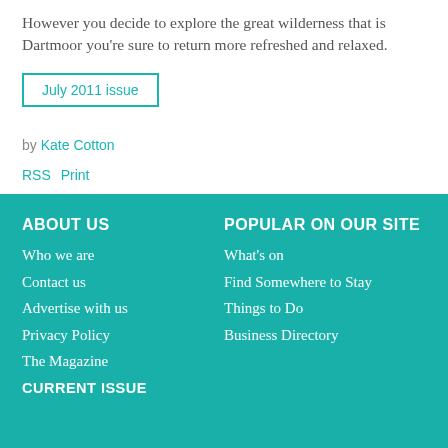However you decide to explore the great wilderness that is Dartmoor you're sure to return more refreshed and relaxed.
July 2011 issue
by Kate Cotton
RSS  Print
ABOUT US
Who we are
Contact us
Advertise with us
Privacy Policy
The Magazine
CURRENT ISSUE

POPULAR ON OUR SITE
What's on
Find Somewhere to Stay
Things to Do
Business Directory